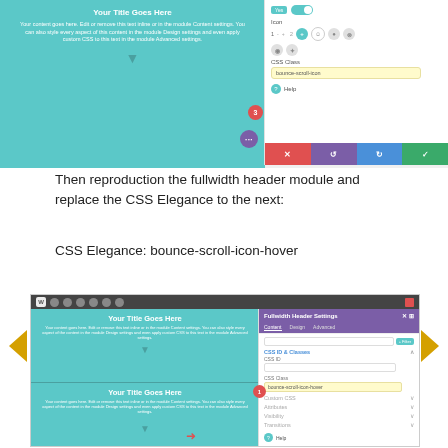[Figure (screenshot): Top screenshot showing a Divi fullwidth header module with teal background on the left and CSS class settings panel on the right, with numbered callout badges 3 and dots.]
Then reproduction the fullwidth header module and replace the CSS Elegance to the next:
CSS Elegance: bounce-scroll-icon-hover
[Figure (screenshot): Bottom screenshot showing a Divi page builder with fullwidth header modules in teal and a Fullwidth Header Settings panel on the right showing CSS ID & Classes section with bounce-scroll-icon-hover entered in CSS Class field, along with Custom CSS, Attributes, Visibility, and Transitions sections.]